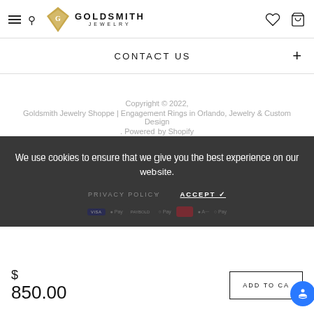GOLDSMITH JEWELRY — header with logo, hamburger/search, wishlist, cart
CONTACT US
Copyright © 2022, Goldsmith Jewelry Shoppe | Engagement Rings in Orlando, Jewelry & Custom Design . Powered by Shopify
We use cookies to ensure that we give you the best experience on our website.
PRIVACY POLICY    ACCEPT ✓
$ 850.00
ADD TO CA